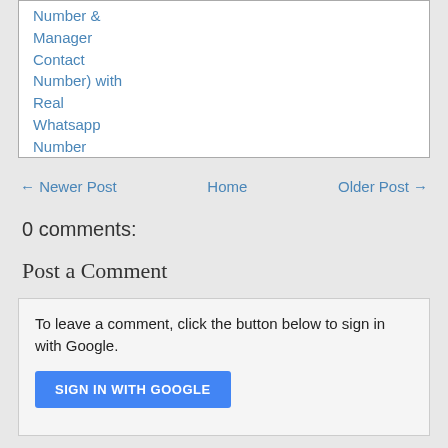Number & Manager Contact Number) with Real Whatsapp Number
← Newer Post   Home   Older Post →
0 comments:
Post a Comment
To leave a comment, click the button below to sign in with Google.
SIGN IN WITH GOOGLE